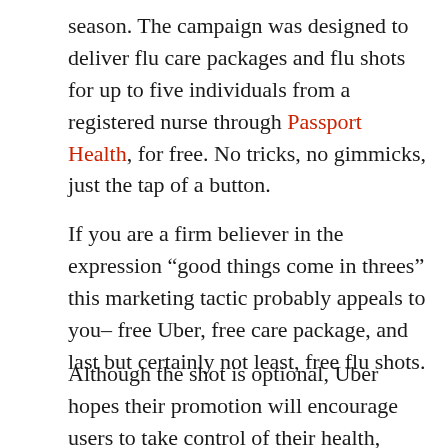season. The campaign was designed to deliver flu care packages and flu shots for up to five individuals from a registered nurse through Passport Health, for free. No tricks, no gimmicks, just the tap of a button.
If you are a firm believer in the expression “good things come in threes” this marketing tactic probably appeals to you– free Uber, free care package, and last but certainly not least, free flu shots.
Although the shot is optional, Uber hopes their promotion will encourage users to take control of their health, along with keeping the health of others in mind. As reported by Uber, each year the flu affects 20 percent of the population and receiving the flu shot reduces the risk of passing your germs by 50-60 percent. Uber’s overall goal may be to spread buzz from person to person about the convenient.